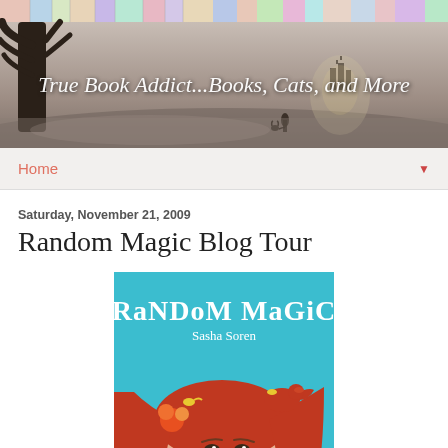[Figure (photo): Blog header banner image for 'True Book Addict...Books, Cats, and More' — shows a misty fantasy scene with a large tree on the left, a small figure and cat walking toward a glowing castle in the distance, with a strip of colorful book spines visible along the top]
True Book Addict...Books, Cats, and More
Home
Saturday, November 21, 2009
Random Magic Blog Tour
[Figure (photo): Book cover of 'Random Magic' by Sasha Soren — bright turquoise/teal background with illustrated title text in a whimsical font, author name below, and a close-up illustration of a red-haired girl with colorful flowers and a red bird in her hair]